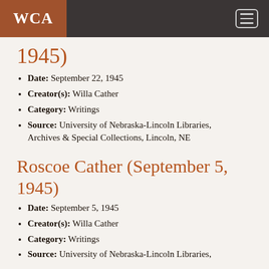WCA
1945)
Date: September 22, 1945
Creator(s): Willa Cather
Category: Writings
Source: University of Nebraska-Lincoln Libraries, Archives & Special Collections, Lincoln, NE
Roscoe Cather (September 5, 1945)
Date: September 5, 1945
Creator(s): Willa Cather
Category: Writings
Source: University of Nebraska-Lincoln Libraries,